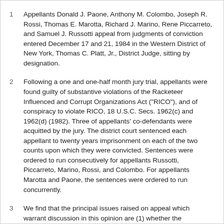Appellants Donald J. Paone, Anthony M. Colombo, Joseph R. Rossi, Thomas E. Marotta, Richard J. Marino, Rene Piccarreto, and Samuel J. Russotti appeal from judgments of conviction entered December 17 and 21, 1984 in the Western District of New York, Thomas C. Platt, Jr., District Judge, sitting by designation.
Following a one and one-half month jury trial, appellants were found guilty of substantive violations of the Racketeer Influenced and Corrupt Organizations Act ("RICO"), and of conspiracy to violate RICO, 18 U.S.C. Secs. 1962(c) and 1962(d) (1982). Three of appellants' co-defendants were acquitted by the jury. The district court sentenced each appellant to twenty years imprisonment on each of the two counts upon which they were convicted. Sentences were ordered to run consecutively for appellants Russotti, Piccarreto, Marino, Rossi, and Colombo. For appellants Marotta and Paone, the sentences were ordered to run concurrently.
We find that the principal issues raised on appeal which warrant discussion in this opinion are (1) whether the admission of co-conspirators' statements at the trial violated the Federal Rules of Evidence or the confrontation clause of the Sixth Amendment; (2)